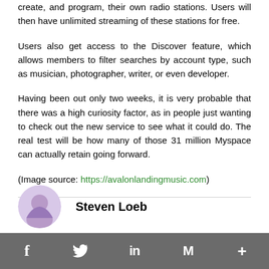create, and program, their own radio stations. Users will then have unlimited streaming of these stations for free.
Users also get access to the Discover feature, which allows members to filter searches by account type, such as musician, photographer, writer, or even developer.
Having been out only two weeks, it is very probable that there was a high curiosity factor, as in people just wanting to check out the new service to see what it could do. The real test will be how many of those 31 million Myspace can actually retain going forward.
(Image source: https://avalonlandingmusic.com)
Steven Loeb
f  Twitter  in  M  +